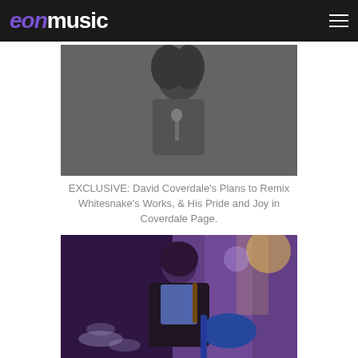eon music
[Figure (photo): Black and white photo of David Coverdale performing, with long curly hair, leaning into a microphone]
EXCLUSIVE: David Coverdale's Plans to Remix Whitesnake's Works, & His Pride and Joy in Coverdale Page.
[Figure (photo): Color photo of Steve Lukather performing on stage with a blue electric guitar, wearing a black jacket, with purple stage lighting]
Steve Lukather on the end of Toto, and the loss of Eddie Van Halen.
[Figure (photo): Black and white photo at bottom, partially visible, showing a group of people]